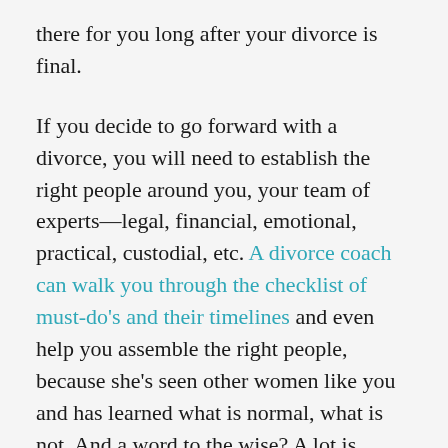there for you long after your divorce is final.
If you decide to go forward with a divorce, you will need to establish the right people around you, your team of experts—legal, financial, emotional, practical, custodial, etc. A divorce coach can walk you through the checklist of must-do's and their timelines and even help you assemble the right people, because she's seen other women like you and has learned what is normal, what is not. And a word to the wise? A lot is normal, so take heart.
Your concern about affordability is a common concern. Believe it or not, there are options for